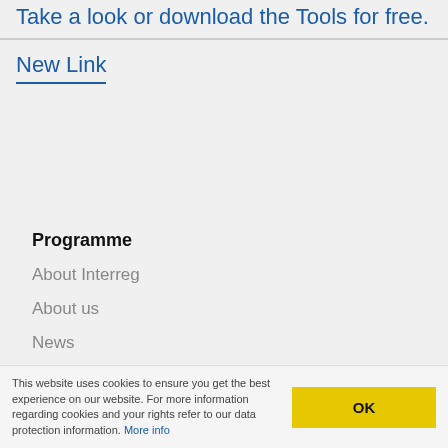Take a look or download the Tools for free.
New Link
Programme
About Interreg
About us
News
Events
This website uses cookies to ensure you get the best experience on our website. For more information regarding cookies and your rights refer to our data protection information. More info
OK